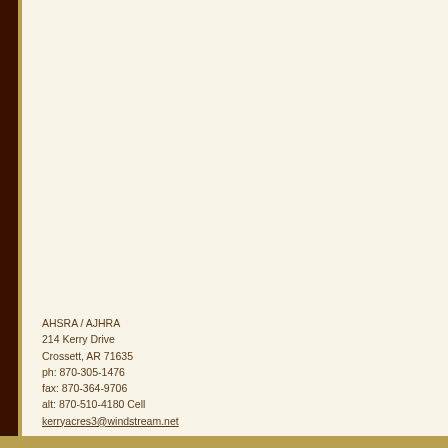AHSRA / AJHRA
214 Kerry Drive
Crossett, AR 71635
ph: 870-305-1476
fax: 870-364-9706
alt: 870-510-4180 Cell
kerryacres3@windstream.net